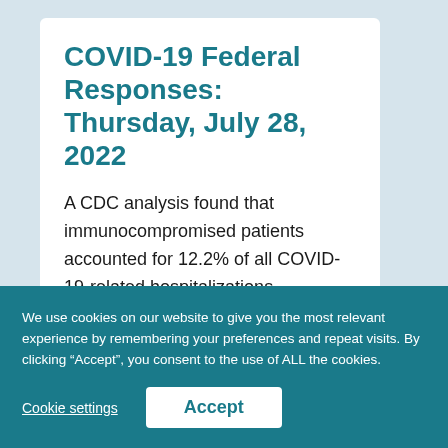COVID-19 Federal Responses: Thursday, July 28, 2022
A CDC analysis found that immunocompromised patients accounted for 12.2% of all COVID-19-related hospitalizations.
We use cookies on our website to give you the most relevant experience by remembering your preferences and repeat visits. By clicking “Accept”, you consent to the use of ALL the cookies.
Cookie settings
Accept